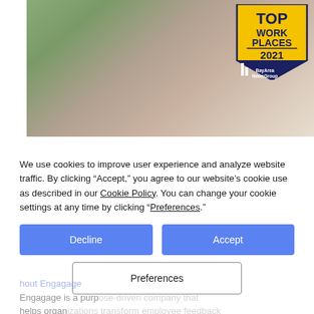[Figure (photo): Person wearing a patterned face mask showing a bandage on their arm, with a 'Top Work Places 2021 Bay Area News Group' badge overlaid in the upper right corner]
We use cookies to improve user experience and analyze website traffic. By clicking “Accept,” you agree to our website’s cookie use as described in our Cookie Policy. You can change your cookie settings at any time by clicking “Preferences.”
Decline
Accept
Preferences
Engagage is a purpose-driven company that helps organizations transform employee feedback into useful business intelligence.